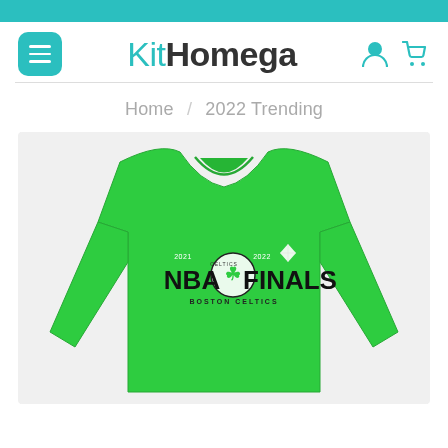[Figure (screenshot): Teal top navigation bar]
[Figure (logo): KitHomega website logo with menu button and icons]
Home / 2022 Trending
[Figure (photo): Green long-sleeve t-shirt with NBA Finals Boston Celtics 2021-2022 graphic design]